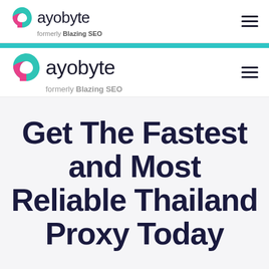ayobyte formerly Blazing SEO
ayobyte formerly Blazing SEO
Get The Fastest and Most Reliable Thailand Proxy Today